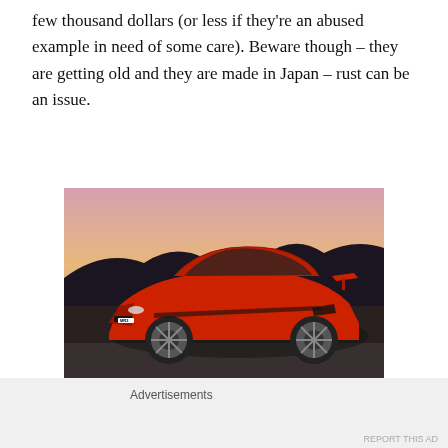few thousand dollars (or less if they're an abused example in need of some care). Beware though – they are getting old and they are made in Japan – rust can be an issue.
[Figure (photo): Red Toyota MR2 sports car photographed at dusk with a dark treeline and pink/purple sky in the background. The car is shown from a front-three-quarter angle. An 'MR2' badge is visible on the front bumper.]
In 1989, the MR2 went through a complete redesign with a more rounded and organic body. The car weighed a few
Advertisements